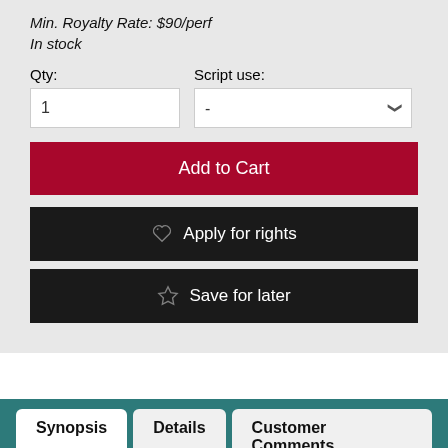Min. Royalty Rate: $90/perf
In stock
Qty:
Script use:
Add to Cart
Apply for rights
Save for later
Synopsis
Details
Customer Comments
Synopsis